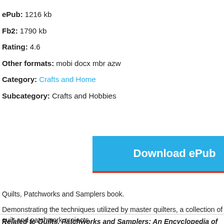ePub: 1216 kb
Fb2: 1790 kb
Rating: 4.6
Other formats: mobi docx mbr azw
Category: Crafts and Home
Subcategory: Crafts and Hobbies
[Figure (other): Download ePub button (blue with red bottom border) and partial second download button visible on right]
Quilts, Patchworks and Samplers book.
Demonstrating the techniques utilized by master quilters, a collection of quilt and patchwork projects stunning array of useful house items.
Related to Quilts, Patchworks and Samplers: An Encyclopedia of Techniques